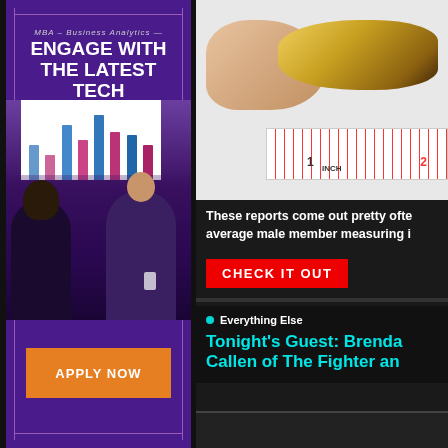[Figure (photo): Advertisement for MBA Business Analytics program showing text 'MBA – Business Analytics ENGAGE WITH THE LATEST TECH' with people in a meeting room and a bar chart on screen. Orange APPLY NOW button at bottom.]
[Figure (photo): Photo of a small banana being measured with a ruler showing 1 INCH and 2 markings, held between fingers against white background.]
These reports come out pretty often average male member measuring i
CHECK IT OUT
Everything Else
Tonight's Guest: Brenda Callen of The Fighter an